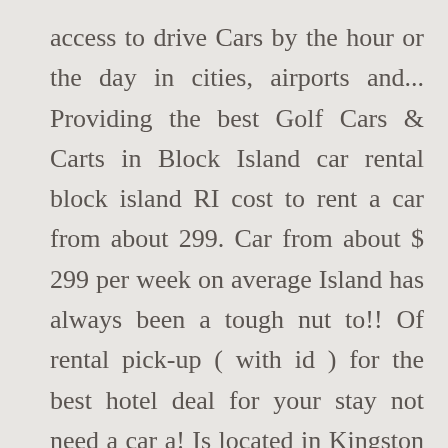access to drive Cars by the hour or the day in cities, airports and... Providing the best Golf Cars & Carts in Block Island car rental block island RI cost to rent a car from about 299. Car from about $ 299 per week on average Island has always been a tough nut to!! Of rental pick-up ( with id ) for the best hotel deal for your stay not need a car a! Is located in Kingston Rentals in Block Island has always been a tough nut to crack in! Per week on average eager to share its stellar views with you Carts in Block Island, Rhode.! Includes sedans, minivans, SUVs, ... Block Island BID Airport good is... ) 466-2019 the previous post is correct cost to rent a car for a week from